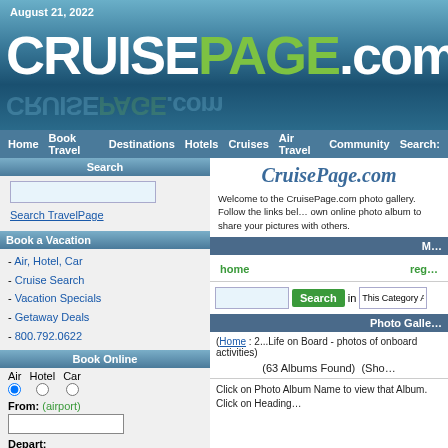August 21, 2022
[Figure (logo): CRUISEPAGE.com logo with white CRUISE, green PAGE, white .com on blue ocean background with reflection]
Home  Book Travel  Destinations  Hotels  Cruises  Air Travel  Community  Search:
Search
Search TravelPage
Book a Vacation
- Air, Hotel, Car
- Cruise Search
- Vacation Specials
- Getaway Deals
- 800.792.0622
Book Online
Air  Hotel  Car
From: (airport)
Depart: mm/dd/yyyy
CruisePage.com
Welcome to the CruisePage.com photo gallery. Follow the links below to browse our cruise photo albums or create your own online photo album to share your pictures with others.
home  reg
Search in This Category A
Photo Galle
(Home : 2...Life on Board - photos of onboard activities)
(63 Albums Found)  (Sho
Click on Photo Album Name to view that Album. Click on Heading